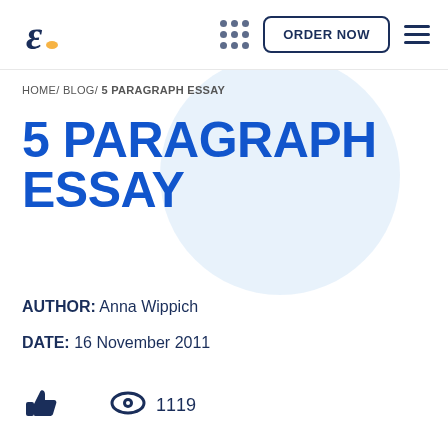[Figure (logo): Stylized cursive letter E logo with orange/yellow accent, education writing service brand mark]
ORDER NOW
HOME/ BLOG/ 5 PARAGRAPH ESSAY
5 PARAGRAPH ESSAY
AUTHOR: Anna Wippich
DATE: 16 November 2011
1119